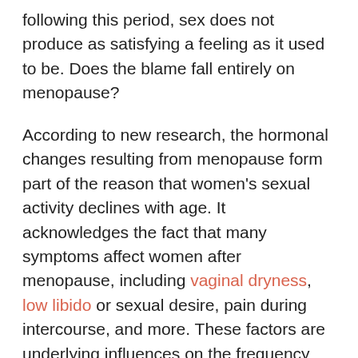following this period, sex does not produce as satisfying a feeling as it used to be. Does the blame fall entirely on menopause?
According to new research, the hormonal changes resulting from menopause form part of the reason that women's sexual activity declines with age. It acknowledges the fact that many symptoms affect women after menopause, including vaginal dryness, low libido or sexual desire, pain during intercourse, and more. These factors are underlying influences on the frequency and pleasure of sex.
Based on conclusions from the new study,